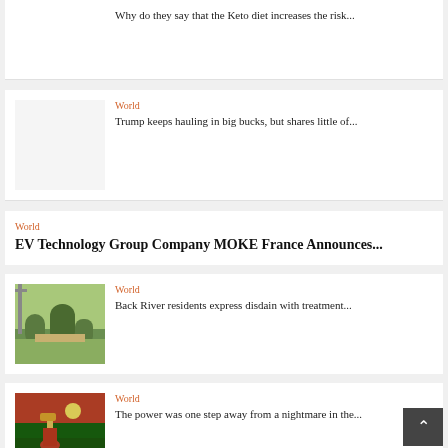Why do they say that the Keto diet increases the risk...
World
Trump keeps hauling in big bucks, but shares little of...
World
EV Technology Group Company MOKE France Announces...
World
[Figure (photo): Outdoor scene with shrubs and trees near a building entrance]
Back River residents express disdain with treatment...
World
[Figure (photo): Volleyball player jumping at a sports event]
The power was one step away from a nightmare in the...